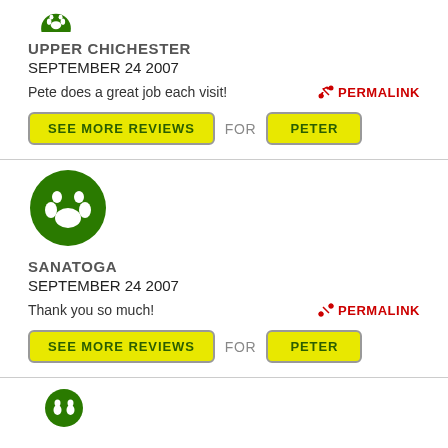[Figure (logo): Green circle with white paw print icon (partially visible at top)]
UPPER CHICHESTER
SEPTEMBER 24 2007
Pete does a great job each visit!
PERMALINK
SEE MORE REVIEWS FOR PETER
[Figure (logo): Green circle with white paw print icon]
SANATOGA
SEPTEMBER 24 2007
Thank you so much!
PERMALINK
SEE MORE REVIEWS FOR PETER
[Figure (logo): Green circle with white paw print icon (partially visible at bottom)]